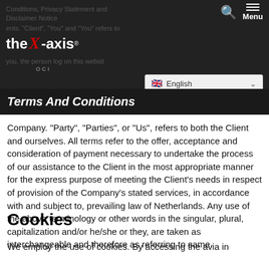Conditions, Privacy Statement and Disclaimer Notice — the X-axis — "Client", "You" and "Your" refers to you, the person log on this website — English [language selector]
Terms And Conditions
Company. "Party", "Parties", or "Us", refers to both the Client and ourselves. All terms refer to the offer, acceptance and consideration of payment necessary to undertake the process of our assistance to the Client in the most appropriate manner for the express purpose of meeting the Client's needs in respect of provision of the Company's stated services, in accordance with and subject to, prevailing law of Netherlands. Any use of the above terminology or other words in the singular, plural, capitalization and/or he/she or they, are taken as interchangeable and therefore as referring to same.
Cookies
We employ the use of cookies. By accessing the avia in